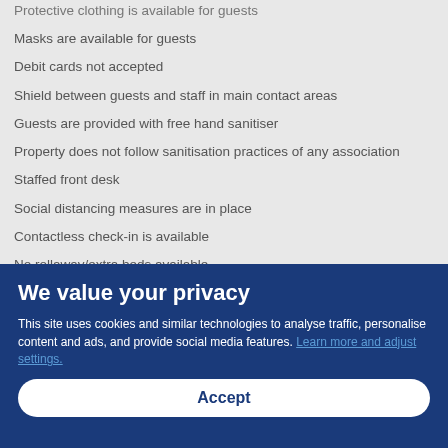Protective clothing is available for guests
Masks are available for guests
Debit cards not accepted
Shield between guests and staff in main contact areas
Guests are provided with free hand sanitiser
Property does not follow sanitisation practices of any association
Staffed front desk
Social distancing measures are in place
Contactless check-in is available
No rollaway/extra beds available
Property follows regional sanitisation guidelines Safe & Clean (Malaysia)
We value your privacy
This site uses cookies and similar technologies to analyse traffic, personalise content and ads, and provide social media features. Learn more and adjust settings.
Accept